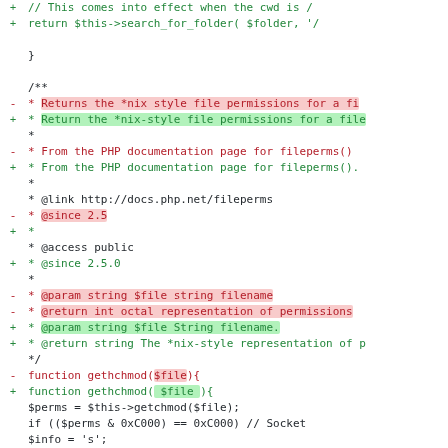Code diff showing changes to WP_Filesystem_Base class gethchmod function documentation and signature
@@ -283,19 +351,20 @@ class WP_Filesystem_Base {